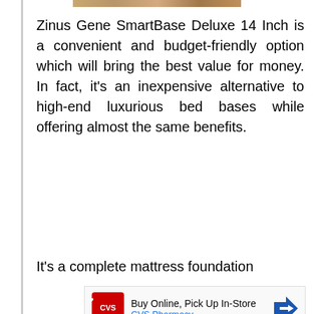[Figure (photo): Partial image of product at top of page]
Zinus Gene SmartBase Deluxe 14 Inch is a convenient and budget-friendly option which will bring the best value for money. In fact, it's an inexpensive alternative to high-end luxurious bed bases while offering almost the same benefits.
It's a complete mattress foundation
[Figure (screenshot): CVS Pharmacy advertisement: Buy Online, Pick Up In-Store - CVS Pharmacy]